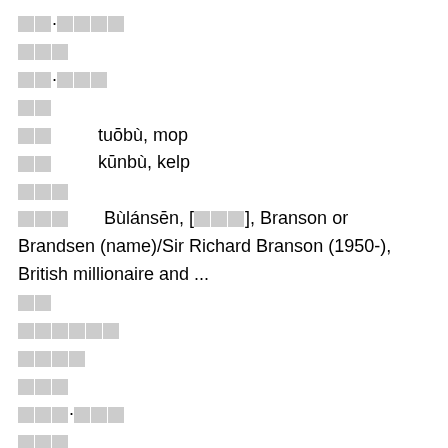〇〇·〇〇〇〇
〇〇〇
〇〇·〇〇〇
〇〇
〇〇      tuōbù, mop
〇〇      kūnbù, kelp
〇〇〇
〇〇〇      Bùlánsēn, [〇〇〇], Branson or Brandsen (name)/Sir Richard Branson (1950-), British millionaire and ...
〇〇
〇〇〇〇〇〇
〇〇〇〇
〇〇〇
〇〇〇·〇〇〇
〇〇〇
〇〇〇·〇〇〇